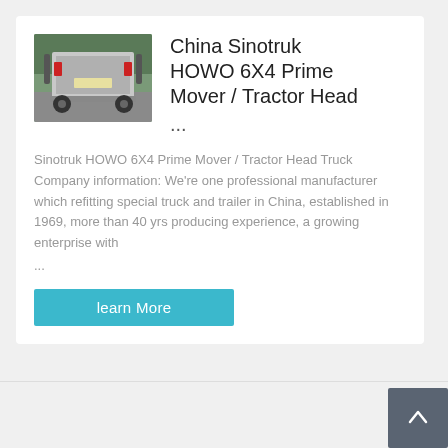[Figure (photo): Rear view of a Sinotruk HOWO 6X4 Prime Mover / Tractor Head truck parked outdoors with trees in background]
China Sinotruk HOWO 6X4 Prime Mover / Tractor Head ...
Sinotruk HOWO 6X4 Prime Mover / Tractor Head Truck Company information: We're one professional manufacturer which refitting special truck and trailer in China, established in 1969, more than 40 yrs producing experience, a growing enterprise with ...
learn More